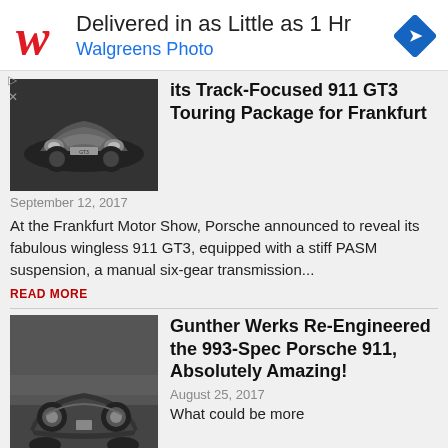[Figure (screenshot): Walgreens Photo advertisement banner. Red cursive W logo on left, text 'Delivered in as Little as 1 Hr' and 'Walgreens Photo' in blue, blue diamond navigation icon on right.]
its Track-Focused 911 GT3 Touring Package for Frankfurt
[Figure (photo): Grayscale front-facing photo of Porsche 911 GT3 sports car on dark background.]
September 12, 2017
At the Frankfurt Motor Show, Porsche announced to reveal its fabulous wingless 911 GT3, equipped with a stiff PASM suspension, a manual six-gear transmission...
READ MORE
Gunther Werks Re-Engineered the 993-Spec Porsche 911, Absolutely Amazing!
[Figure (photo): Grayscale front-facing photo of vintage Porsche 911 (993-spec) parked on street.]
August 25, 2017
What could be more